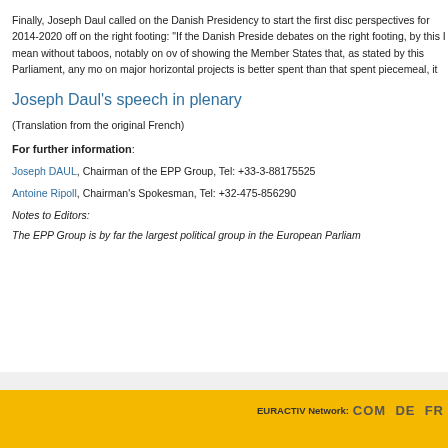Finally, Joseph Daul called on the Danish Presidency to start the first disc perspectives for 2014-2020 off on the right footing: "If the Danish Preside debates on the right footing, by this I mean without taboos, notably on ov of showing the Member States that, as stated by this Parliament, any mo on major horizontal projects is better spent than that spent piecemeal, it
Joseph Daul's speech in plenary
(Translation from the original French)
For further information:
Joseph DAUL, Chairman of the EPP Group, Tel: +33-3-88175525
Antoine Ripoll, Chairman's Spokesman, Tel: +32-475-856290
Notes to Editors:
The EPP Group is by far the largest political group in the European Parliam
EURACTIV Network: COM DE FR